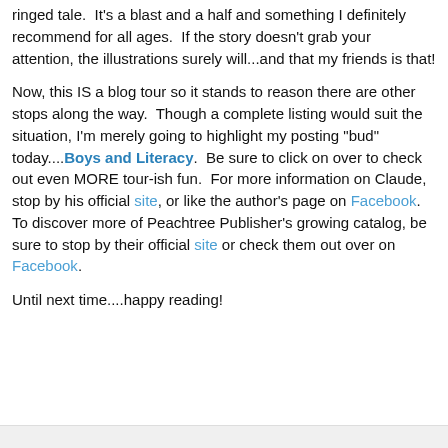ringed tale.  It's a blast and a half and something I definitely recommend for all ages.  If the story doesn't grab your attention, the illustrations surely will...and that my friends is that!
Now, this IS a blog tour so it stands to reason there are other stops along the way.  Though a complete listing would suit the situation, I'm merely going to highlight my posting "bud" today....Boys and Literacy.  Be sure to click on over to check out even MORE tour-ish fun.  For more information on Claude, stop by his official site, or like the author's page on Facebook. To discover more of Peachtree Publisher's growing catalog, be sure to stop by their official site or check them out over on Facebook.
Until next time....happy reading!